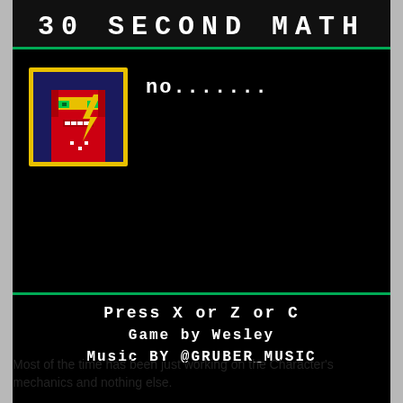30 SECOND MATH
[Figure (screenshot): Pixel art character portrait: a red humanoid figure with a yellow mask/headband and green eyes, with a yellow lightning bolt, on a dark blue background, framed with a yellow border]
no.......
Press X or Z or C
Game by Wesley
Music BY @GRUBER_MUSIC
Most of the time has been just working on the Character's mechanics and nothing else.